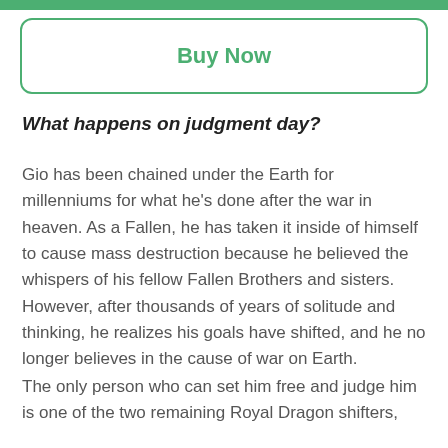Buy Now
What happens on judgment day?
Gio has been chained under the Earth for millenniums for what he's done after the war in heaven. As a Fallen, he has taken it inside of himself to cause mass destruction because he believed the whispers of his fellow Fallen Brothers and sisters. However, after thousands of years of solitude and thinking, he realizes his goals have shifted, and he no longer believes in the cause of war on Earth.
The only person who can set him free and judge him is one of the two remaining Royal Dragon shifters,